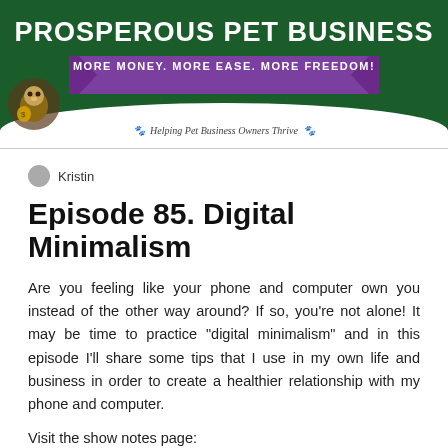[Figure (illustration): Prosperous Pet Business website header banner with dark green background, large white bold title 'PROSPEROUS PET BUSINESS', purple ribbon with text 'MORE MONEY. MORE EASE. MORE FREEDOM!', tagline 'Helping Pet Business Owners Thrive' with paw icons, and a mascot illustration in the bottom left.]
Kristin
Episode 85. Digital Minimalism
Are you feeling like your phone and computer own you instead of the other way around? If so, you're not alone! It may be time to practice “digital minimalism” and in this episode I’ll share some tips that I use in my own life and business in order to create a healthier relationship with my phone and computer.
Visit the show notes page: